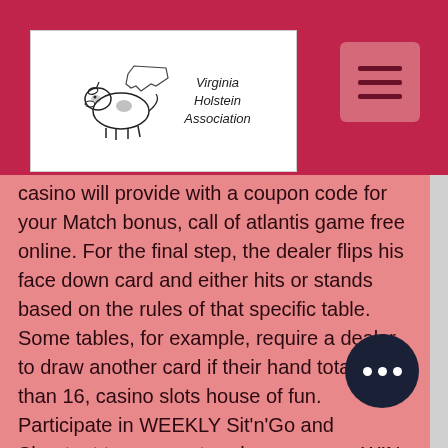Virginia Holstein Association
[Figure (logo): Virginia Holstein Association logo with cow illustration and state of Virginia outline]
casino will provide with a coupon code for your Match bonus, call of atlantis game free online. For the final step, the dealer flips his face down card and either hits or stands based on the rules of that specific table. Some tables, for example, require a dealer to draw another card if their hand totals less than 16, casino slots house of fun. Participate in WEEKLY Sit'n'Go and Shootout tournaments, where you can WIN unique trophies or millions of chips and top our Leaderboard, luna casino no deposit bonus. Play at several tables with lots of worthy competitors and reach the final table! To wrap up online casino games can be a lot of fun while offering big payouts for the winners, best online poker games for m... Browsing our reviews is the best way to